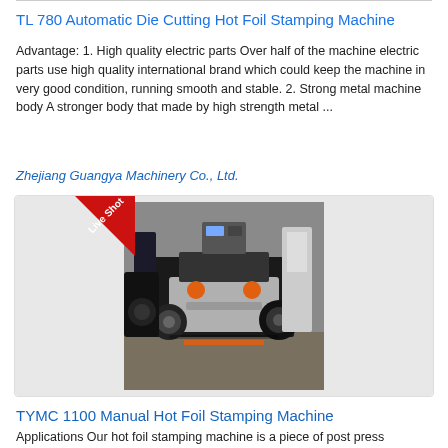TL 780 Automatic Die Cutting Hot Foil Stamping Machine
Advantage: 1. High quality electric parts Over half of the machine electric parts use high quality international brand which could keep the machine in very good condition, running smooth and stable. 2. Strong metal machine body A stronger body that made by high strength metal ...
Zhejiang Guangya Machinery Co., Ltd.
[Figure (photo): Photo of a die cutting hot foil stamping machine on a factory floor with a 'Live Shot' badge in the upper left corner of the image.]
TYMC 1100 Manual Hot Foil Stamping Machine
Applications Our hot foil stamping machine is a piece of post press